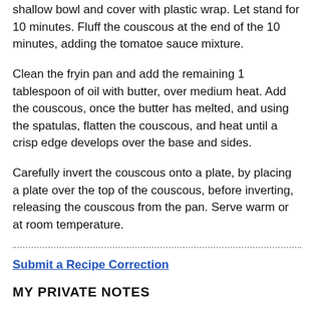shallow bowl and cover with plastic wrap. Let stand for 10 minutes. Fluff the couscous at the end of the 10 minutes, adding the tomatoe sauce mixture.
Clean the fryin pan and add the remaining 1 tablespoon of oil with butter, over medium heat. Add the couscous, once the butter has melted, and using the spatulas, flatten the couscous, and heat until a crisp edge develops over the base and sides.
Carefully invert the couscous onto a plate, by placing a plate over the top of the couscous, before inverting, releasing the couscous from the pan. Serve warm or at room temperature.
Submit a Recipe Correction
MY PRIVATE NOTES